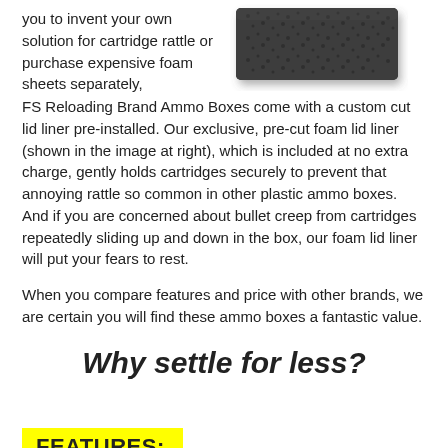you to invent your own solution for cartridge rattle or purchase expensive foam sheets separately, FS Reloading Brand Ammo Boxes come with a custom cut lid liner pre-installed. Our exclusive, pre-cut foam lid liner (shown in the image at right), which is included at no extra charge, gently holds cartridges securely to prevent that annoying rattle so common in other plastic ammo boxes. And if you are concerned about bullet creep from cartridges repeatedly sliding up and down in the box, our foam lid liner will put your fears to rest.
[Figure (photo): Close-up photo of a dark gray foam sheet/pad used as a lid liner for ammo boxes]
When you compare features and price with other brands, we are certain you will find these ammo boxes a fantastic value.
Why settle for less?
FEATURES: